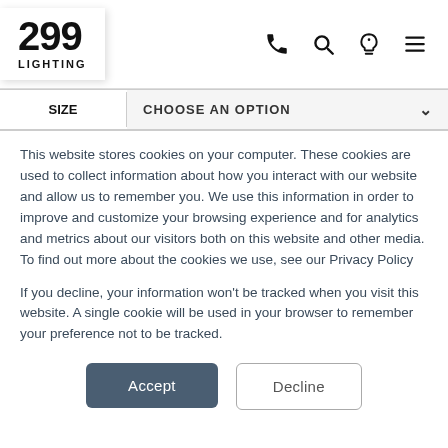299 LIGHTING
SIZE   CHOOSE AN OPTION
This website stores cookies on your computer. These cookies are used to collect information about how you interact with our website and allow us to remember you. We use this information in order to improve and customize your browsing experience and for analytics and metrics about our visitors both on this website and other media. To find out more about the cookies we use, see our Privacy Policy
If you decline, your information won't be tracked when you visit this website. A single cookie will be used in your browser to remember your preference not to be tracked.
Accept
Decline